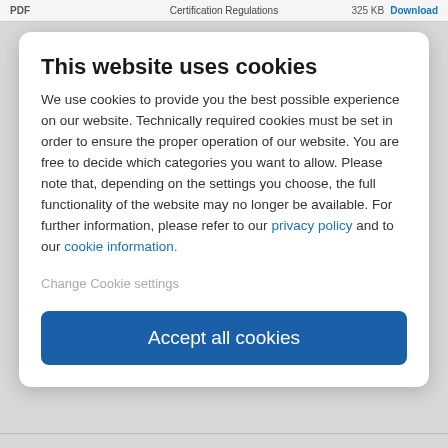PDF   Certification Regulations   325 KB   Download
This website uses cookies
We use cookies to provide you the best possible experience on our website. Technically required cookies must be set in order to ensure the proper operation of our website. You are free to decide which categories you want to allow. Please note that, depending on the settings you choose, the full functionality of the website may no longer be available. For further information, please refer to our privacy policy and to our cookie information.
Change Cookie settings
Accept all cookies